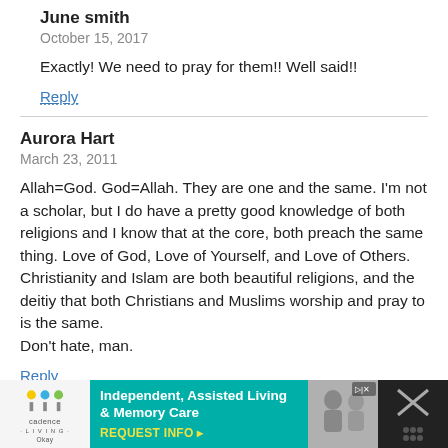June smith
October 15, 2017
Exactly! We need to pray for them!! Well said!!
Reply
Aurora Hart
March 23, 2011
Allah=God. God=Allah. They are one and the same. I'm not a scholar, but I do have a pretty good knowledge of both religions and I know that at the core, both preach the same thing. Love of God, Love of Yourself, and Love of Others. Christianity and Islam are both beautiful religions, and the deitiy that both Christians and Muslims worship and pray to is the same.
Don't hate, man.
Reply
[Figure (infographic): Advertisement banner for Cadence Living - Independent, Assisted Living & Memory Care with REQUEST INFO button, showing logo, teal background, photo of elderly people, and close/ad controls]